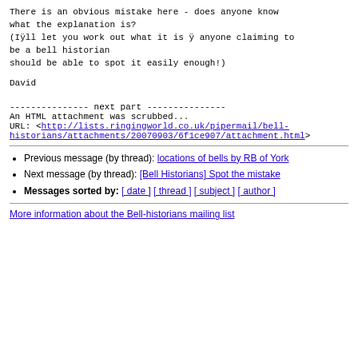There is an obvious mistake here - does anyone know what the explanation is?
(Iÿll let you work out what it is ÿ anyone claiming to be a bell historian
should be able to spot it easily enough!)
David
--------------- next part ---------------
An HTML attachment was scrubbed...
URL: <http://lists.ringingworld.co.uk/pipermail/bell-historians/attachments/20070903/6f1ce907/attachment.html>
Previous message (by thread): locations of bells by RB of York
Next message (by thread): [Bell Historians] Spot the mistake
Messages sorted by: [ date ] [ thread ] [ subject ] [ author ]
More information about the Bell-historians mailing list